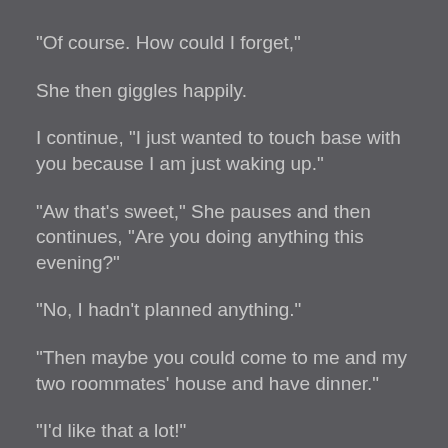“Of course. How could I forget,”
She then giggles happily.
I continue, “I just wanted to touch base with you because I am just waking up.”
“Aw that’s sweet,” She pauses and then continues, “Are you doing anything this evening?”
“No, I hadn’t planned anything.”
“Then maybe you could come to me and my two roommates’ house and have dinner.”
“I’d like that a lot!”